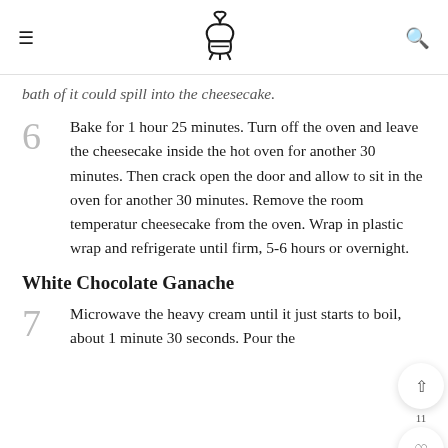≡ [logo] Q
bath of it could spill into the cheesecake.
6 Bake for 1 hour 25 minutes. Turn off the oven and leave the cheesecake inside the hot oven for another 30 minutes. Then crack open the door and allow to sit in the oven for another 30 minutes. Remove the room temperature cheesecake from the oven. Wrap in plastic wrap and refrigerate until firm, 5-6 hours or overnight.
White Chocolate Ganache
7 Microwave the heavy cream until it just starts to boil, about 1 minute 30 seconds. Pour the